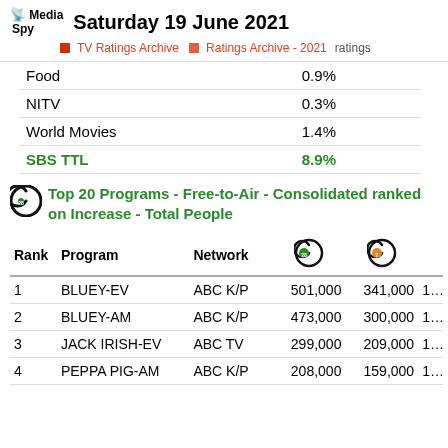Saturday 19 June 2021 — TV Ratings Archive > Ratings Archive - 2021 ratings
|  |  |
| --- | --- |
| Food | 0.9% |
| NITV | 0.3% |
| World Movies | 1.4% |
| SBS TTL | 8.9% |
Top 20 Programs - Free-to-Air - Consolidated ranked on Increase - Total People
| Rank | Program | Network | C28 | C7 |  |
| --- | --- | --- | --- | --- | --- |
| 1 | BLUEY-EV | ABC K/P | 501,000 | 341,000 | 1… |
| 2 | BLUEY-AM | ABC K/P | 473,000 | 300,000 | 1… |
| 3 | JACK IRISH-EV | ABC TV | 299,000 | 209,000 | 1… |
| 4 | PEPPA PIG-AM | ABC K/P | 208,000 | 159,000 | 1… |